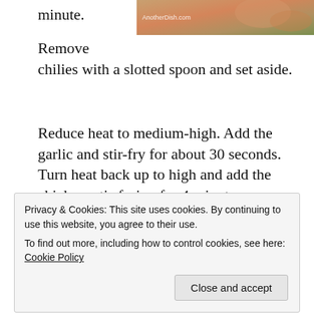[Figure (photo): Partial food photo visible in upper right corner, showing prepared dish with orange/warm tones, with watermark 'AnotherDish.com']
minute.
Remove chilies with a slotted spoon and set aside.
Reduce heat to medium-high. Add the garlic and stir-fry for about 30 seconds. Turn heat back up to high and add the chicken, stir-frying for 4 minutes.
Add the red bell pepper, carrot, onion and sauce mixture to the chicken. Stir-fry for about 2 minutes. Remove from heat and stir in the cashews, chilies, scallions and white ground pepper. Season to taste with a bit more fish sauce and sugar,
Privacy & Cookies: This site uses cookies. By continuing to use this website, you agree to their use.
To find out more, including how to control cookies, see here: Cookie Policy

Close and accept